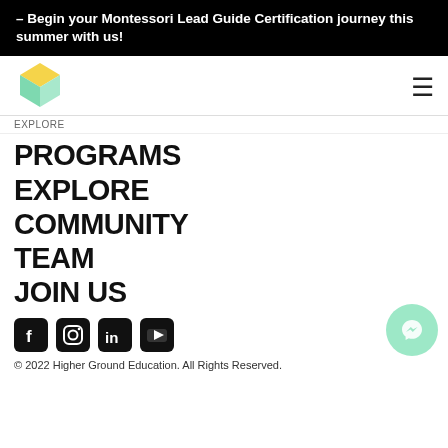– Begin your Montessori Lead Guide Certification journey this summer with us!
[Figure (logo): Colorful geometric cube logo (green, yellow, teal facets)]
EXPLORE
PROGRAMS
EXPLORE
COMMUNITY
TEAM
JOIN US
[Figure (illustration): Social media icons: Facebook, Instagram, LinkedIn, YouTube]
[Figure (illustration): Messenger chat button (green circle)]
© 2022 Higher Ground Education. All Rights Reserved.